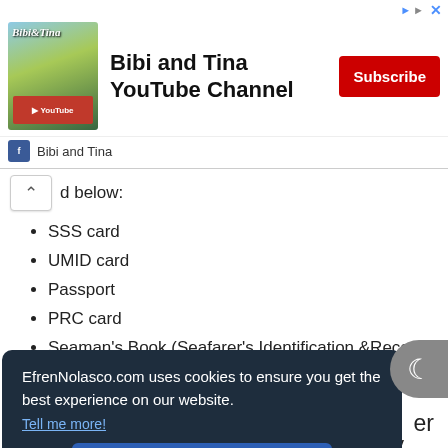[Figure (screenshot): Advertisement banner for Bibi and Tina YouTube Channel with Subscribe button and channel icon]
d below:
SSS card
UMID card
Passport
PRC card
Seaman's Book (Seafarer's Identification &Record Book)
EfrenNolasco.com uses cookies to ensure you get the best experience on our website. Tell me more!
(ADSC).